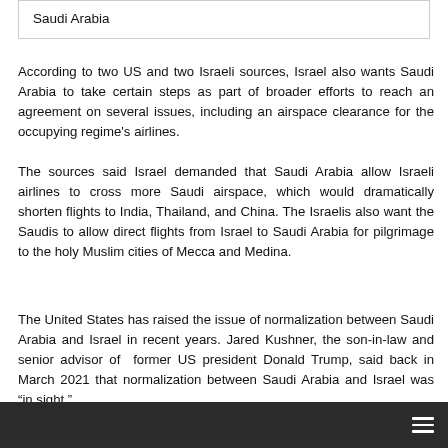Saudi Arabia
According to two US and two Israeli sources, Israel also wants Saudi Arabia to take certain steps as part of broader efforts to reach an agreement on several issues, including an airspace clearance for the occupying regime's airlines.
The sources said Israel demanded that Saudi Arabia allow Israeli airlines to cross more Saudi airspace, which would dramatically shorten flights to India, Thailand, and China. The Israelis also want the Saudis to allow direct flights from Israel to Saudi Arabia for pilgrimage to the holy Muslim cities of Mecca and Medina.
The United States has raised the issue of normalization between Saudi Arabia and Israel in recent years. Jared Kushner, the son-in-law and senior advisor of former US president Donald Trump, said back in March 2021 that normalization between Saudi Arabia and Israel was “in sight.”